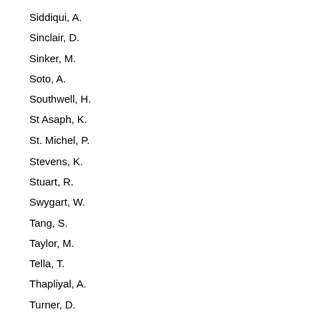Siddiqui, A.
Sinclair, D.
Sinker, M.
Soto, A.
Southwell, H.
St Asaph, K.
St. Michel, P.
Stevens, K.
Stuart, R.
Swygart, W.
Tang, S.
Taylor, M.
Tella, T.
Thapliyal, A.
Turner, D.